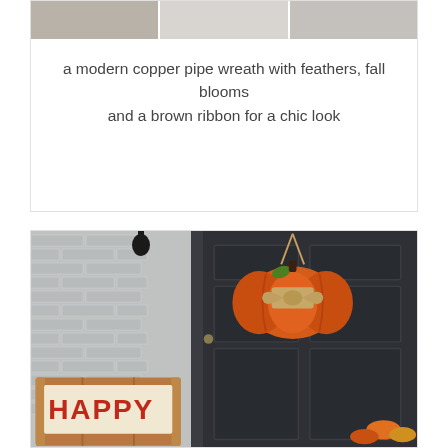[Figure (photo): Partial top view of a copper pipe wreath with feathers and fall blooms, showing bottom strip of the image]
a modern copper pipe wreath with feathers, fall blooms and a brown ribbon for a chic look
[Figure (photo): A front porch scene with a dark navy/black front door featuring an orange wooden pumpkin door hanger with burlap bow, white painted brick wall on the left, a wooden crate with a HAPPY sign at the bottom left, and fall leaves at the bottom right]